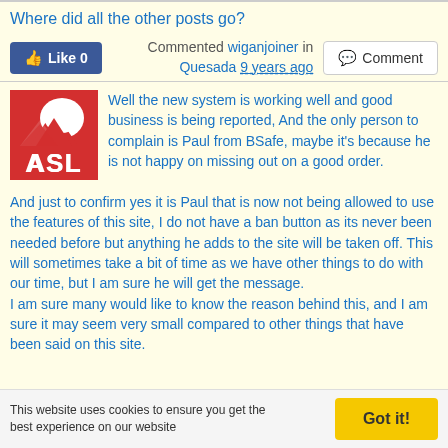Where did all the other posts go?
Commented wiganjoiner in Quesada 9 years ago
Well the new system is working well and good business is being reported, And the only person to complain is Paul from BSafe, maybe it's because he is not happy on missing out on a good order.
And just to confirm yes it is Paul that is now not being allowed to use the features of this site, I do not have a ban button as its never been needed before but anything he adds to the site will be taken off. This will sometimes take a bit of time as we have other things to do with our time, but I am sure he will get the message.
I am sure many would like to know the reason behind this, and I am sure it may seem very small compared to other things that have been said on this site.
This website uses cookies to ensure you get the best experience on our website